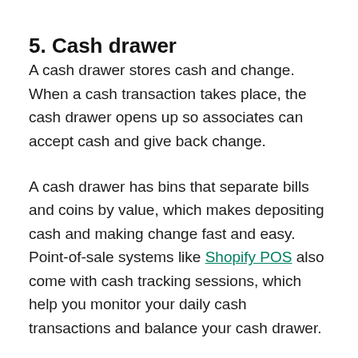5. Cash drawer
A cash drawer stores cash and change. When a cash transaction takes place, the cash drawer opens up so associates can accept cash and give back change.
A cash drawer has bins that separate bills and coins by value, which makes depositing cash and making change fast and easy. Point-of-sale systems like Shopify POS also come with cash tracking sessions, which help you monitor your daily cash transactions and balance your cash drawer.